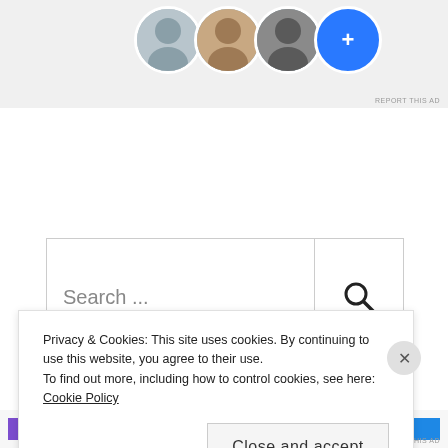[Figure (photo): Partial view of a social media or website widget showing circular avatar profile photos and a blue circle, on a light gray background. 'REPORT THIS AD' text appears at bottom right.]
[Figure (screenshot): Search bar with placeholder text 'Search ...' and a search (magnifying glass) icon on the right side, inside a bordered rectangle.]
RECENT POSTS
Privacy & Cookies: This site uses cookies. By continuing to use this website, you agree to their use.
To find out more, including how to control cookies, see here: Cookie Policy
Close and accept